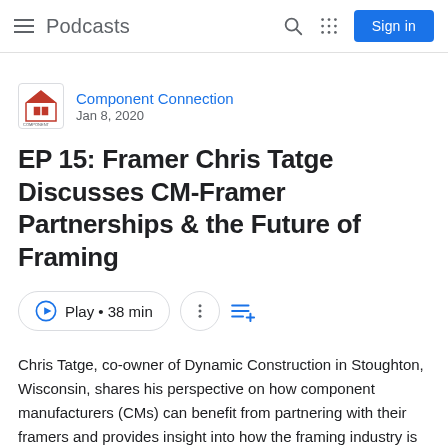Podcasts
Component Connection
Jan 8, 2020
EP 15: Framer Chris Tatge Discusses CM-Framer Partnerships & the Future of Framing
Play • 38 min
Chris Tatge, co-owner of Dynamic Construction in Stoughton, Wisconsin, shares his perspective on how component manufacturers (CMs) can benefit from partnering with their framers and provides insight into how the framing industry is evolving. As executive director of the National Framers Council (NFC), Chris also shares how the NFC has grown and the value it offers to framers both big and small.